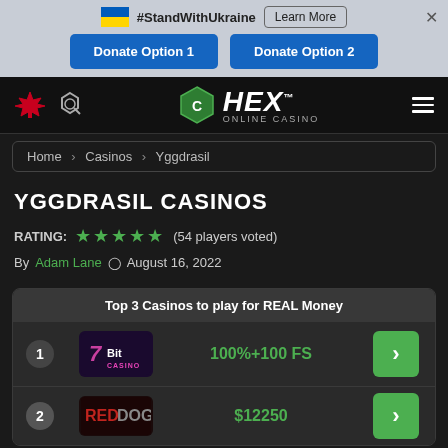[Figure (screenshot): Ukraine support banner with flag, #StandWithUkraine text, Learn More button, close X, and two blue Donate Option buttons]
[Figure (logo): HEX Online Casino logo with navigation icons]
Home > Casinos > Yggdrasil
YGGDRASIL CASINOS
RATING: ★★★★★ (54 players voted)
By Adam Lane 🕐 August 16, 2022
| # | Casino | Bonus |  |
| --- | --- | --- | --- |
| 1 | 7Bit Casino | 100%+100 FS | > |
| 2 | Red Dog | $12250 | > |